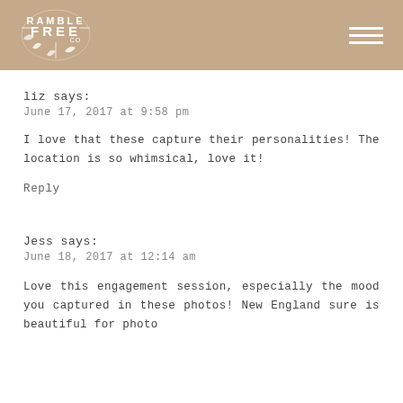[Figure (logo): Ramble Free Co. logo in white on tan/brown header background]
liz says:
June 17, 2017 at 9:58 pm
I love that these capture their personalities! The location is so whimsical, love it!
Reply
Jess says:
June 18, 2017 at 12:14 am
Love this engagement session, especially the mood you captured in these photos! New England sure is beautiful for photo